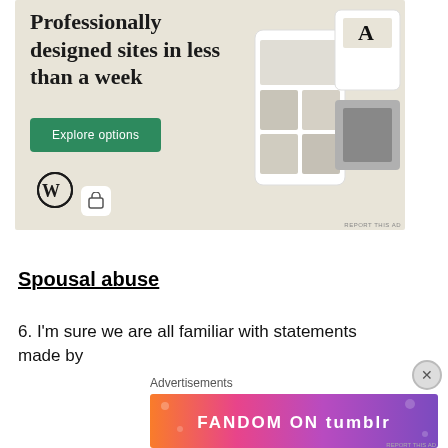[Figure (illustration): WordPress advertisement: 'Professionally designed sites in less than a week' with Explore options button, WordPress logo, and mock website screenshots on beige background]
Spousal abuse
6. I'm sure we are all familiar with statements made by
Advertisements
[Figure (illustration): Fandom on Tumblr advertisement banner with colorful gradient background (orange, pink, purple) and white text 'FANDOM ON tumblr']